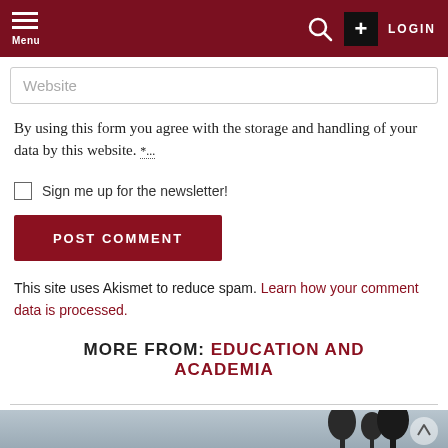Menu | LOGIN
Website
By using this form you agree with the storage and handling of your data by this website. *
Sign me up for the newsletter!
POST COMMENT
This site uses Akismet to reduce spam. Learn how your comment data is processed.
MORE FROM: EDUCATION AND ACADEMIA
[Figure (photo): Bottom portion of a photo showing a wintery/cloudy sky with dark tree silhouettes]